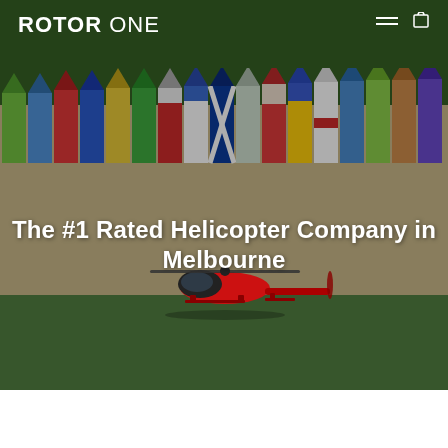ROTOR ONE
[Figure (photo): Aerial photograph showing Brighton beach bathing boxes (colorful beach huts in a row) along a sandy beach with green trees in the background, and a red Robinson helicopter flying low over the beach/grass area. The image is a hero banner for the Rotor One helicopter company website.]
The #1 Rated Helicopter Company in Melbourne